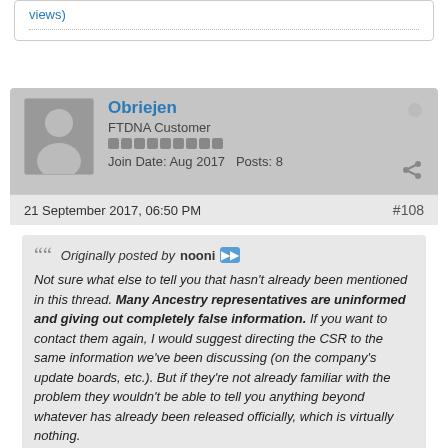views)
Obriejen
FTDNA Customer
Join Date: Aug 2017   Posts: 8
21 September 2017, 06:50 PM
#108
Originally posted by nooni
Not sure what else to tell you that hasn't already been mentioned in this thread. Many Ancestry representatives are uninformed and giving out completely false information. If you want to contact them again, I would suggest directing the CSR to the same information we've been discussing (on the company's update boards, etc.). But if they're not already familiar with the problem they wouldn't be able to tell you anything beyond whatever has already been released officially, which is virtually nothing.
What hasn't been mentioned recently is potentially a fix. Unless you are directly a FTDNA or Ancestry employee I'm certain you would not have a response for "what to tell me" regarding this. I'm sure if enough